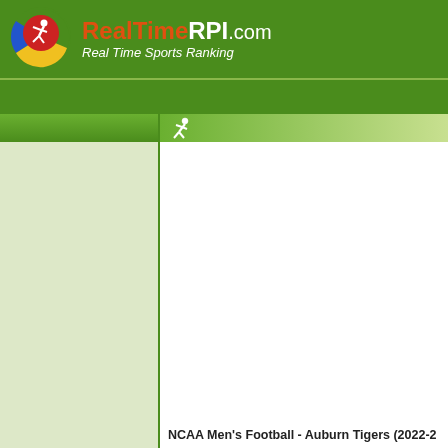RealTimeRPI.com - Real Time Sports Ranking
[Figure (logo): RealTimeRPI.com logo with colored circular icon (red circle with running figure, green/yellow/blue segments) and site name]
NCAA Men's Football - Auburn Tigers (2022-2